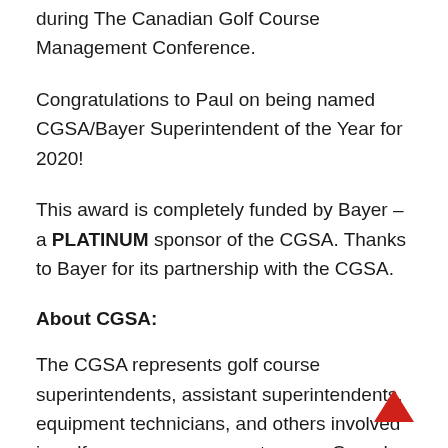during The Canadian Golf Course Management Conference.
Congratulations to Paul on being named CGSA/Bayer Superintendent of the Year for 2020!
This award is completely funded by Bayer – a PLATINUM sponsor of the CGSA. Thanks to Bayer for its partnership with the CGSA.
About CGSA:
The CGSA represents golf course superintendents, assistant superintendents, equipment technicians, and others involved in golf course management across Canada. CGSA was founded in 1966 and has approximately 1,000 members. Its mission is to